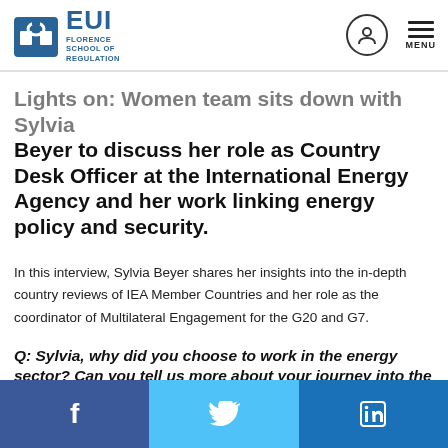EUI Florence School of Regulation
Lights on: Women team sits down with Sylvia Beyer to discuss her role as Country Desk Officer at the International Energy Agency and her work linking energy policy and security.
In this interview, Sylvia Beyer shares her insights into the in-depth country reviews of IEA Member Countries and her role as the coordinator of Multilateral Engagement for the G20 and G7.
Q: Sylvia, why did you choose to work in the energy sector? Can you tell us more about your journey into the field?